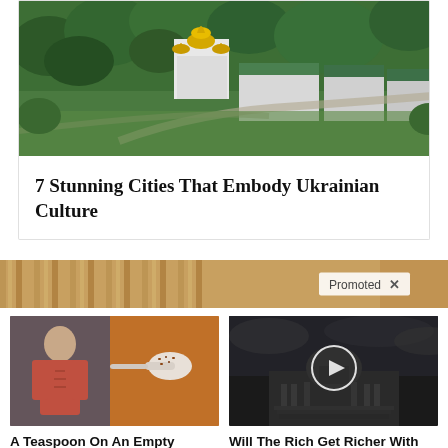[Figure (photo): Aerial view of Ukrainian city with golden-domed Orthodox church and green-roofed buildings surrounded by trees]
7 Stunning Cities That Embody Ukrainian Culture
[Figure (photo): Promotional banner strip with 'Promoted X' label overlay]
[Figure (photo): Composite thumbnail: woman with abs and close-up of spice on spoon - sponsored ad]
A Teaspoon On An Empty Stomach Burns Fat Like Crazy!
🔥 123,669
[Figure (photo): Black and white photo of US Capitol building with play button overlay - sponsored video ad]
Will The Rich Get Richer With Biden's New Executive Order?
🔥 542